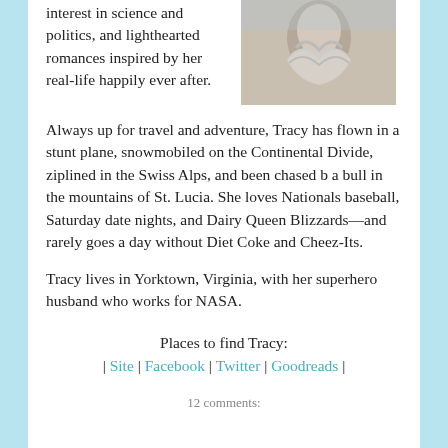interest in science and politics, and lighthearted romances inspired by her real-life happily ever after.
[Figure (photo): Photo of a woman in a light-colored ruffled/draped outfit, seen from behind or side, outdoors]
Always up for travel and adventure, Tracy has flown in a stunt plane, snowmobiled on the Continental Divide, ziplined in the Swiss Alps, and been chased by a bull in the mountains of St. Lucia. She loves Nationals baseball, Saturday date nights, and Dairy Queen Blizzards—and rarely goes a day without Diet Coke and Cheez-Its.
Tracy lives in Yorktown, Virginia, with her superhero husband who works for NASA.
Places to find Tracy:
| Site | Facebook | Twitter | Goodreads |
12 comments: